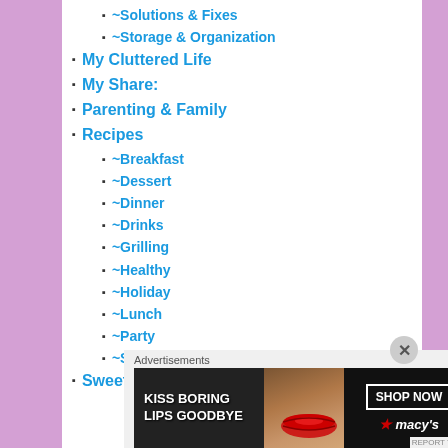~Solutions & Fixes
~Storage & Organization
My Cluttered Life
My Share:
Parenting & Family
Recipes
~Breakfast
~Dessert
~Dinner
~Drinks
~Grilling
~Healthy
~Holiday
~Lunch
~Party
~Snack
Sweet As Icing On A Cake
[Figure (screenshot): Macy's advertisement banner: 'KISS BORING LIPS GOODBYE' with SHOP NOW button and Macy's logo]